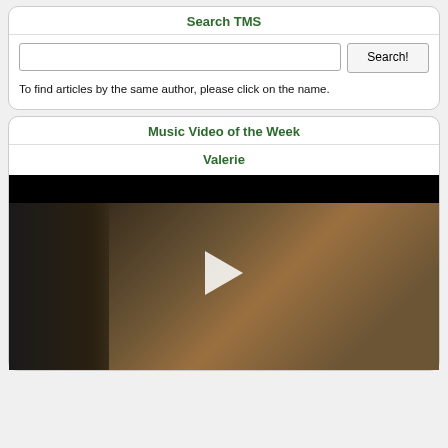Search TMS
To find articles by the same author, please click on the name.
Music Video of the Week
Valerie
[Figure (screenshot): Video thumbnail showing a music video scene with a masked figure playing violin on the left and a smiling young man in the center, with a play button overlay. Black letterbox bar at top.]